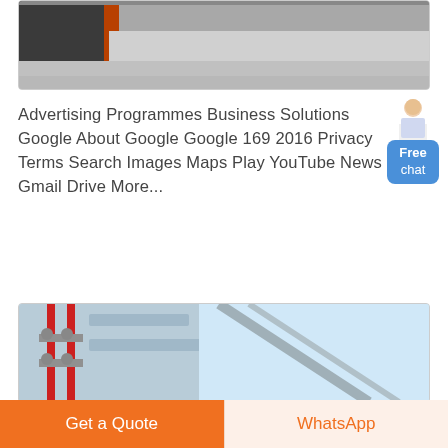[Figure (photo): Partial photo of a building exterior or construction site with a dark gate/structure and orange element, sandy/concrete ground visible.]
Advertising Programmes Business Solutions Google About Google Google 169 2016 Privacy Terms Search Images Maps Play YouTube News Gmail Drive More...
[Figure (photo): Photo of scaffolding or industrial piping with red vertical pipes and metal framework in an industrial setting.]
Get a Quote
WhatsApp